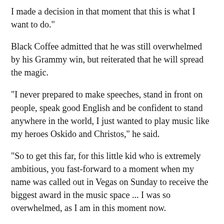I made a decision in that moment that this is what I want to do.”
Black Coffee admitted that he was still overwhelmed by his Grammy win, but reiterated that he will spread the magic.
“I never prepared to make speeches, stand in front on people, speak good English and be confident to stand anywhere in the world, I just wanted to play music like my heroes Oskido and Christos,” he said.
“So to get this far, for this little kid who is extremely ambitious, you fast-forward to a moment when my name was called out in Vegas on Sunday to receive the biggest award in the music space ... I was so overwhelmed, as I am in this moment now.
“I don’t believe that it happened. I feel like I have so much electricity and magic in my body. I wish I can fly over the continent for everyone to feel this magic.
“I wish I can…